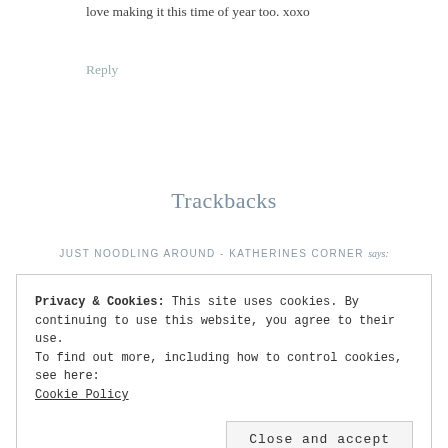love making it this time of year too. xoxo
Reply
Trackbacks
JUST NOODLING AROUND - KATHERINES CORNER says:
Privacy & Cookies: This site uses cookies. By continuing to use this website, you agree to their use.
To find out more, including how to control cookies, see here:
Cookie Policy
Close and accept